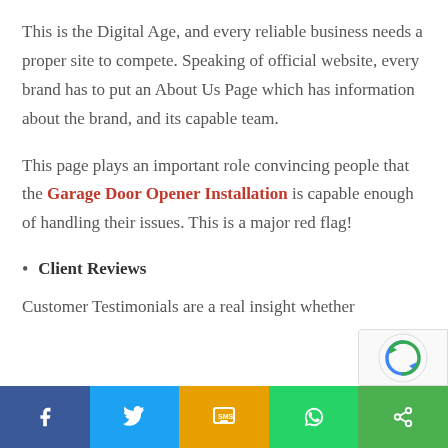This is the Digital Age, and every reliable business needs a proper site to compete. Speaking of official website, every brand has to put an About Us Page which has information about the brand, and its capable team.
This page plays an important role convincing people that the Garage Door Opener Installation is capable enough of handling their issues. This is a major red flag!
Client Reviews
Customer Testimonials are a real insight whether